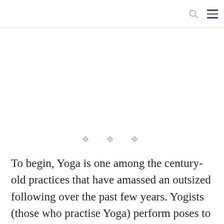[Figure (other): Three decorative diamond/cross ornament symbols used as a section divider]
To begin, Yoga is one among the century-old practices that have amassed an outsized following over the past few years. Yogists (those who practise Yoga) perform poses to sync with their inner self and luxuriate in many other positive effects.